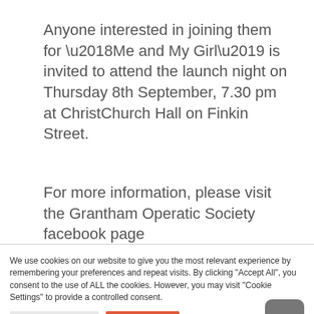Anyone interested in joining them for ‘Me and My Girl’ is invited to attend the launch night on Thursday 8th September, 7.30 pm at ChristChurch Hall on Finkin Street.
For more information, please visit the Grantham Operatic Society facebook page
We use cookies on our website to give you the most relevant experience by remembering your preferences and repeat visits. By clicking "Accept All", you consent to the use of ALL the cookies. However, you may visit "Cookie Settings" to provide a controlled consent.